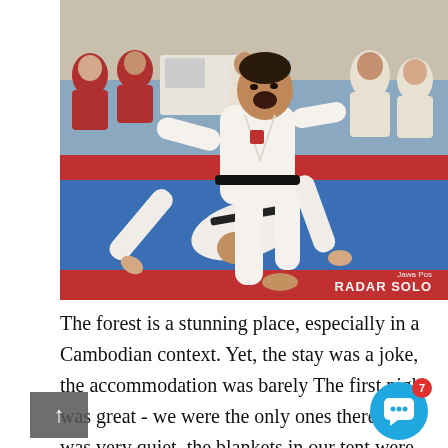[Figure (photo): Two martial artists in white gi uniforms grappling on a blue and red mat during a competition. One competitor is on the ground while the other stands over them. Several other competitors and spectators visible in background. Watermark reads 'Jawa Pos RADAR SOLO'.]
The forest is a stunning place, especially in a Cambodian context. Yet, the stay was a joke, the accommodation was barely The first night was great - we were the only ones there so it was very quiet, the blankets in our tent were clean Very clean and friendly.
Be carful when crossing the highway for food. There lot of stairs on the higher rooms so I would request room on the lower floor If you are after a good night